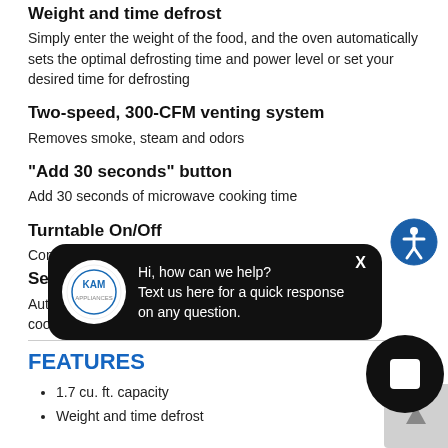Weight and time defrost
Simply enter the weight of the food, and the oven automatically sets the optimal defrosting time and power level or set your desired time for defrosting
Two-speed, 300-CFM venting system
Removes smoke, steam and odors
"Add 30 seconds" button
Add 30 seconds of microwave cooking time
Turntable On/Off
Controls turntable operation
Sensor ca...
Automatica... cooking re...
[Figure (illustration): KAM Appliances chat popup overlay on dark background with logo and text: Hi, how can we help? Text us here for a quick response on any question.]
[Figure (illustration): Blue circular accessibility icon with wheelchair figure]
[Figure (illustration): Black circular button with square icon (Roblox-style chat button)]
FEATURES
1.7 cu. ft. capacity
Weight and time defrost